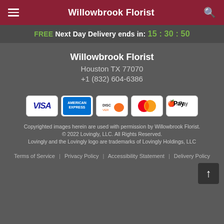Willowbrook Florist
FREE Next Day Delivery ends in: 15 : 30 : 50
Willowbrook Florist
Houston TX 77070
+1 (832) 604-6386
[Figure (logo): Payment method icons: Visa, American Express, Discover, Mastercard, Apple Pay]
Copyrighted images herein are used with permission by Willowbrook Florist.
© 2022 Lovingly, LLC. All Rights Reserved.
Lovingly and the Lovingly logo are trademarks of Lovingly Holdings, LLC
Terms of Service | Privacy Policy | Accessibility Statement | Delivery Policy